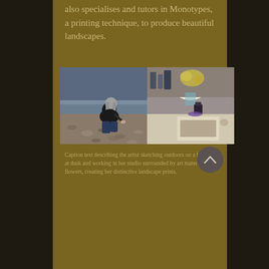also specialises and tutors in Monotypes, a printing technique, to produce beautiful landscapes.
[Figure (photo): Two side-by-side photographs: left shows a person with long grey hair sitting on a pebble beach drawing, right shows an art studio table with flowers, jars, and artwork lit by a lamp.]
Caption text partially visible — describes the artist at work outdoors on a beach and in a studio setting.